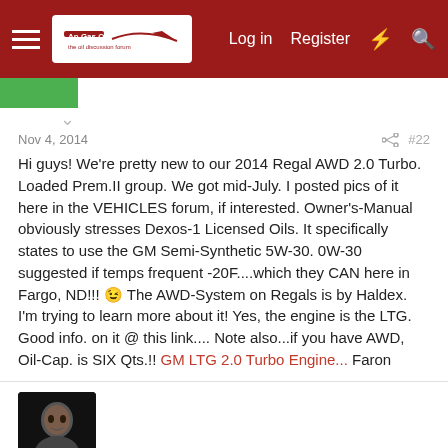Log in  Register
Nov 4, 2014  #22
Hi guys! We're pretty new to our 2014 Regal AWD 2.0 Turbo. Loaded Prem.II group. We got mid-July. I posted pics of it here in the VEHICLES forum, if interested. Owner's-Manual obviously stresses Dexos-1 Licensed Oils. It specifically states to use the GM Semi-Synthetic 5W-30. 0W-30 suggested if temps frequent -20F....which they CAN here in Fargo, ND!!! 😉 The AWD-System on Regals is by Haldex. I'm trying to learn more about it! Yes, the engine is the LTG. Good info. on it @ this link.... Note also...if you have AWD, Oil-Cap. is SIX Qts.!! GM LTG 2.0 Turbo Engine... Faron
wemay
Nov 4, 2014  #23